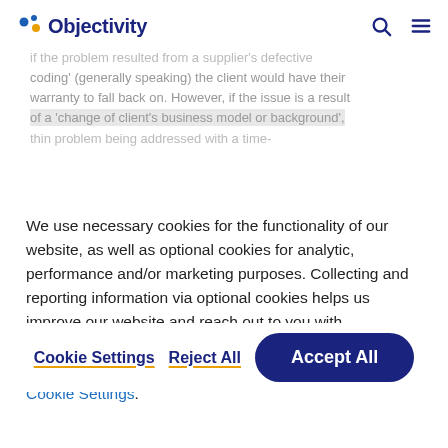Objectivity
if the problem resulted from a supplier's 'defective coding' (generally speaking) the client would have their warranty to fall back on. However, if the issue is a result of a 'change of client's business model or background',
We use necessary cookies for the functionality of our website, as well as optional cookies for analytic, performance and/or marketing purposes. Collecting and reporting information via optional cookies helps us improve our website and reach out to you with information regarding our organisaton or offer. To read more or decline the use of some cookies please see our Cookie Settings.
Cookie Settings   Reject All   Accept All
agree, and will not be responsible for